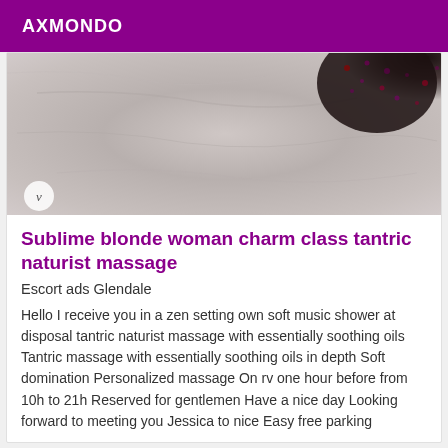AXMONDO
[Figure (photo): Partial photo showing a stone/marble surface background with dark sequined fabric object visible in upper right corner, with a small circular 'v' badge watermark in lower left]
Sublime blonde woman charm class tantric naturist massage
Escort ads Glendale
Hello I receive you in a zen setting own soft music shower at disposal tantric naturist massage with essentially soothing oils Tantric massage with essentially soothing oils in depth Soft domination Personalized massage On rv one hour before from 10h to 21h Reserved for gentlemen Have a nice day Looking forward to meeting you Jessica to nice Easy free parking